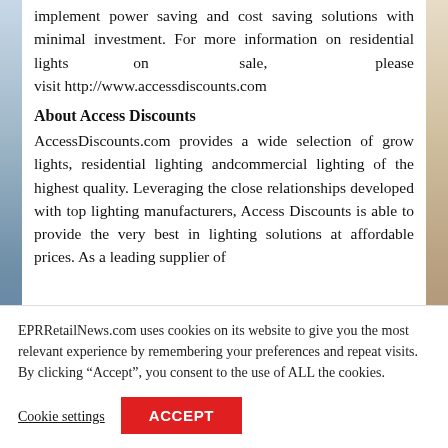implement power saving and cost saving solutions with minimal investment. For more information on residential lights on sale, please visit http://www.accessdiscounts.com
About Access Discounts
AccessDiscounts.com provides a wide selection of grow lights, residential lighting andcommercial lighting of the highest quality. Leveraging the close relationships developed with top lighting manufacturers, Access Discounts is able to provide the very best in lighting solutions at affordable prices. As a leading supplier of
EPRRetailNews.com uses cookies on its website to give you the most relevant experience by remembering your preferences and repeat visits. By clicking “Accept”, you consent to the use of ALL the cookies.
Cookie settings
ACCEPT